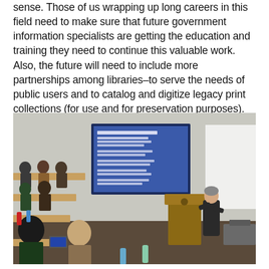sense. Those of us wrapping up long careers in this field need to make sure that future government information specialists are getting the education and training they need to continue this valuable work. Also, the future will need to include more partnerships among libraries–to serve the needs of public users and to catalog and digitize legacy print collections (for use and for preservation purposes).
[Figure (photo): A classroom or lecture hall scene showing a woman presenting at a podium with a projection screen displaying text about dates and deadlines, with students seated at tiered desks facing the speaker.]